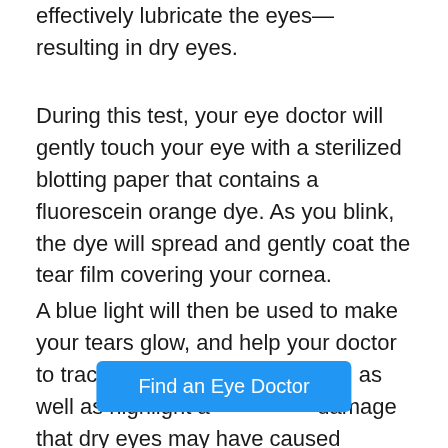effectively lubricate the eyes— resulting in dry eyes.
During this test, your eye doctor will gently touch your eye with a sterilized blotting paper that contains a fluorescein orange dye. As you blink, the dye will spread and gently coat the tear film covering your cornea.
A blue light will then be used to make your tears glow, and help your doctor to track their rate of evaporation, as well as highlight a[...] al damage that dry eyes may have caused
Find an Eye Doctor